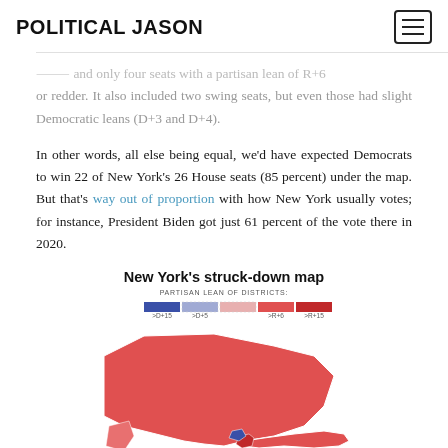POLITICAL JASON
or redder. It also included two swing seats, but even those had slight Democratic leans (D+3 and D+4).
In other words, all else being equal, we'd have expected Democrats to win 22 of New York's 26 House seats (85 percent) under the map. But that's way out of proportion with how New York usually votes; for instance, President Biden got just 61 percent of the vote there in 2020.
New York's struck-down map
[Figure (map): Choropleth map of New York State showing partisan lean of districts under the struck-down map. Districts colored on a spectrum from dark blue (D+15) to dark red (R+15). Legend shows: >D+15, >D+5, >R+6, >R+15. The map shows much of the state in red/pink tones.]